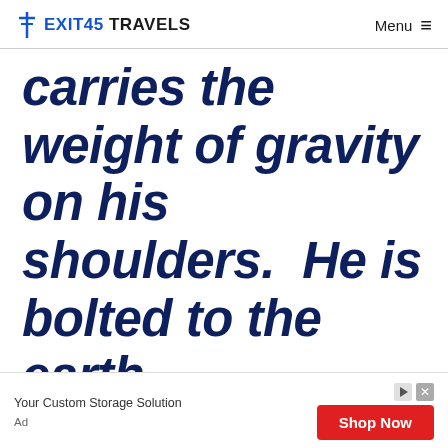Exit45 Travels | Menu
carries the weight of gravity on his shoulders.  He is bolted to the earth.
[Figure (other): Advertisement banner: 'Your Custom Storage Solution' with a red 'Shop Now' button and ad label]